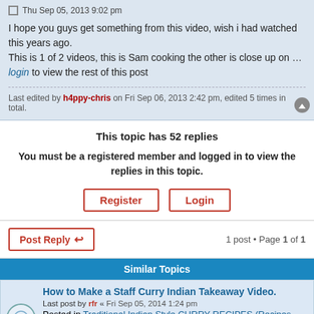Thu Sep 05, 2013 9:02 pm
I hope you guys get something from this video, wish i had watched this years ago.
This is 1 of 2 videos, this is Sam cooking the other is close up on ….login to view the rest of this post
Last edited by h4ppy-chris on Fri Sep 06, 2013 2:42 pm, edited 5 times in total.
This topic has 52 replies
You must be a registered member and logged in to view the replies in this topic.
Register   Login
Post Reply  ↩
1 post • Page 1 of 1
Similar Topics
How to Make a Staff Curry Indian Takeaway Video.
Last post by rfr « Fri Sep 05, 2014 1:24 pm
Posted in Traditional Indian Style CURRY RECIPES (Recipes Only)
Replies: 81
Indian Takeaway Rogan Josh Curry video recipe...